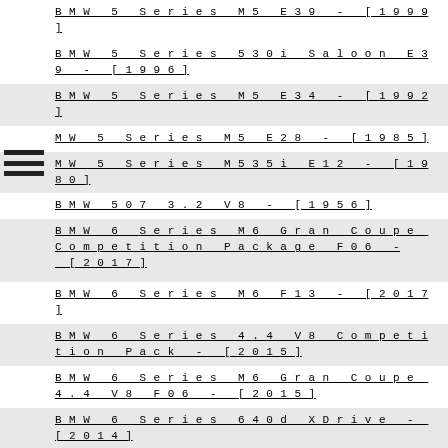BMW 5 Series M5 E39 - [1999]
BMW 5 Series 530i Saloon E39 - [1996]
BMW 5 Series M5 E34 - [1992]
BMW 5 Series M5 E28 - [1985]
BMW 5 Series M535i E12 - [1980]
BMW 507 3.2 V8 - [1956]
BMW 6 Series M6 Gran Coupe Competition Package F06 - [2017]
BMW 6 Series M6 F13 - [2017]
BMW 6 Series 4.4 V8 Competition Pack - [2015]
BMW 6 Series M6 Gran Coupe 4.4 V8 F06 - [2015]
BMW 6 Series 640d XDrive - [2014]
BMW 6 Series 640d - [2014]
BMW 6 Series 650 4.4 V8 - [2014]
BMW 6 Series M6 4.4 V8 F13 - [2012]
BMW 6 Series M6 Cabriolet 4.4 V8 - [2012]
BMW 6 Series M6 Gran Coupe 4.4 V8 - [2012]
BMW 6 Series M6 Convertible 2d SMG E64 - [2005]
BMW 6 Series M635 CSi E24 - [1984]
BMW 7 Series 750i xDrive - [2017]